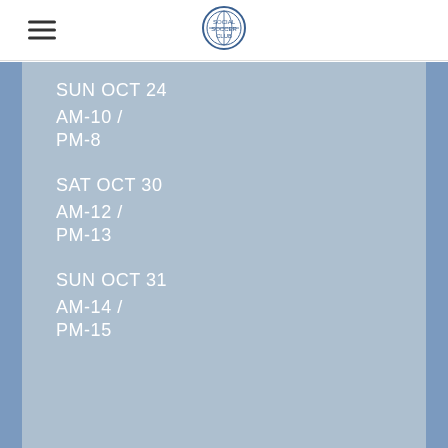SUN OCT 24
AM-10 /
PM-8
SAT OCT 30
AM-12 /
PM-13
SUN OCT 31
AM-14 /
PM-15